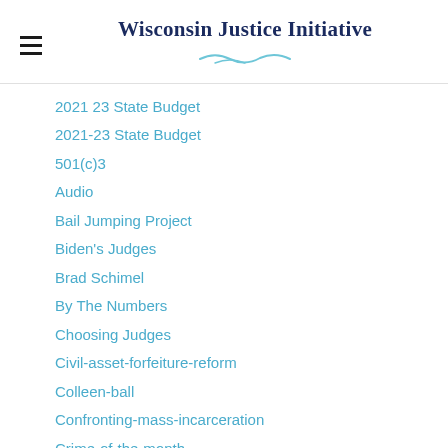Wisconsin Justice Initiative
2021 23 State Budget
2021-23 State Budget
501(c)3
Audio
Bail Jumping Project
Biden's Judges
Brad Schimel
By The Numbers
Choosing Judges
Civil-asset-forfeiture-reform
Colleen-ball
Confronting-mass-incarceration
Crime-of-the-month
Daily Reads
Daily-reads
Department Of Corrections
Evers' Judges
Fix The Forty